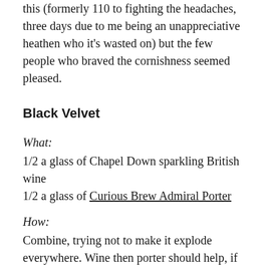this (formerly 110 to fighting the headaches, three days due to me being an unappreciative heathen who it's wasted on) but the few people who braved the cornishness seemed pleased.
Black Velvet
What:
1/2 a glass of Chapel Down sparkling British wine
1/2 a glass of Curious Brew Admiral Porter
How:
Combine, trying not to make it explode everywhere. Wine then porter should help, if the porter's cold, but it generally exploded everywhere.
A take on the Guinness and champagne black velvet and another I didn't get a chance to try. I did manage to blag a few bottles of the porter on the way out and it